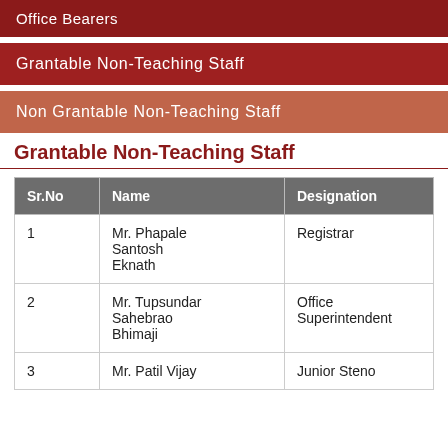Office Bearers
Grantable Non-Teaching Staff
Non Grantable Non-Teaching Staff
Grantable Non-Teaching Staff
| Sr.No | Name | Designation |
| --- | --- | --- |
| 1 | Mr. Phapale Santosh Eknath | Registrar |
| 2 | Mr. Tupsundar Sahebrao Bhimaji | Office Superintendent |
| 3 | Mr. Patil Vijay | Junior Steno |